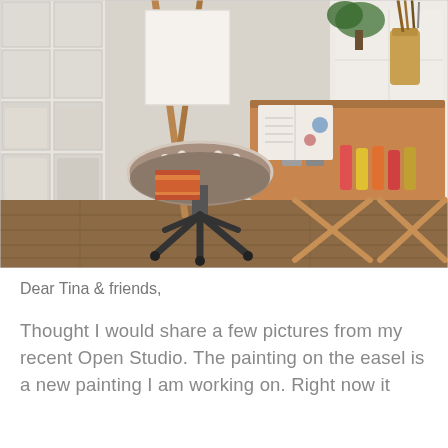[Figure (photo): An artist studio setup with a wooden easel, a round polka-dot cushioned stool with a black metal base, a folding wooden side table with art supplies including paint tubes, brushes in a vase, and an open book, storage cubbies in the background.]
Dear Tina & friends,
Thought I would share a few pictures from my recent Open Studio. The painting on the easel is a new painting I am working on. Right now it